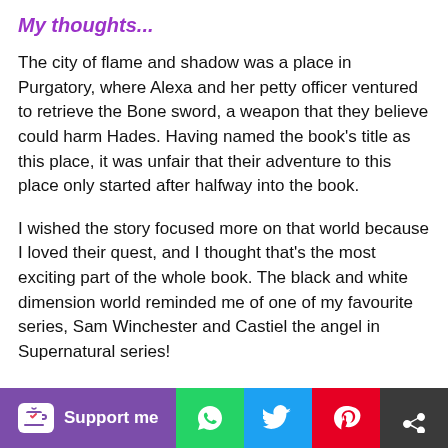My thoughts...
The city of flame and shadow was a place in Purgatory, where Alexa and her petty officer ventured to retrieve the Bone sword, a weapon that they believe could harm Hades. Having named the book’s title as this place, it was unfair that their adventure to this place only started after halfway into the book.
I wished the story focused more on that world because I loved their quest, and I thought that’s the most exciting part of the whole book. The black and white dimension world reminded me of one of my favourite series, Sam Winchester and Castiel the angel in Supernatural series!
Although the story was predictable, nevertheless, it was still entertaining with a sprinkle of a tiny bit of possib…